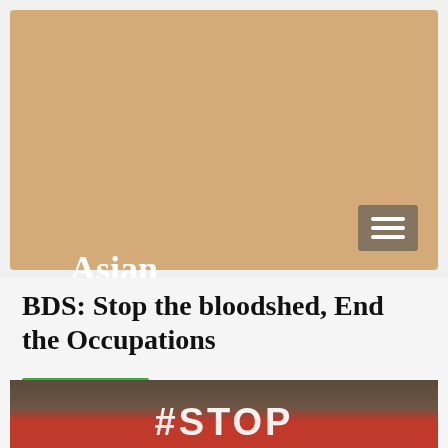Asian Green News
Asian Green News: Extraordinary news analysis and commentary
BDS: Stop the bloodshed, End the Occupations
May 24, 2021
[Figure (photo): Person holding a red sign with white text reading #STOP]